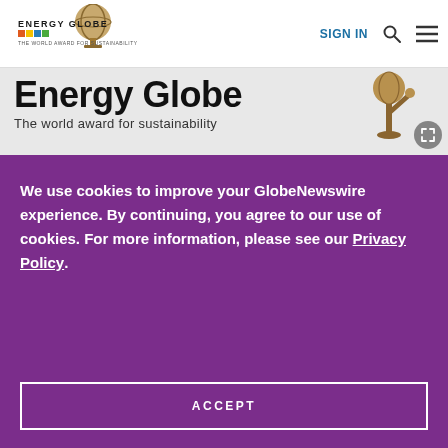SIGN IN
[Figure (logo): Energy Globe logo with globe sculpture and colorful text logo]
[Figure (illustration): Energy Globe banner with large bold text 'Energy Globe – The world award for sustainability' and a bronze statue on the right]
We use cookies to improve your GlobeNewswire experience. By continuing, you agree to our use of cookies. For more information, please see our Privacy Policy.
ACCEPT